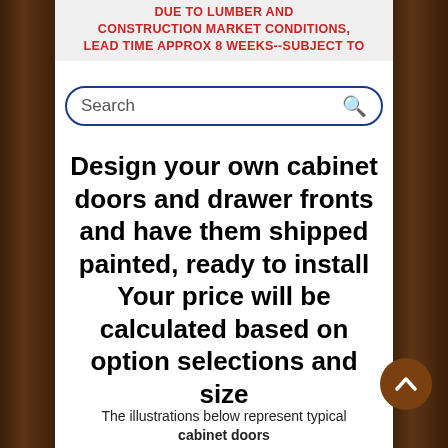DUE TO LUMBER AND CONSTRUCTION MARKET CONDITIONS, LEAD TIME APPROX 8 WEEKS--SUBJECT TO
Search
Design your own cabinet doors and drawer fronts and have them shipped painted, ready to install Your price will be calculated based on option selections and size
The illustrations below represent typical cabinet doors